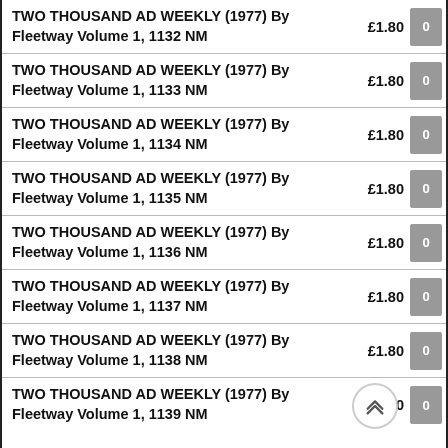TWO THOUSAND AD WEEKLY (1977) By Fleetway Volume 1, 1132 NM £1.80 0
TWO THOUSAND AD WEEKLY (1977) By Fleetway Volume 1, 1133 NM £1.80 0
TWO THOUSAND AD WEEKLY (1977) By Fleetway Volume 1, 1134 NM £1.80 0
TWO THOUSAND AD WEEKLY (1977) By Fleetway Volume 1, 1135 NM £1.80 0
TWO THOUSAND AD WEEKLY (1977) By Fleetway Volume 1, 1136 NM £1.80 0
TWO THOUSAND AD WEEKLY (1977) By Fleetway Volume 1, 1137 NM £1.80 0
TWO THOUSAND AD WEEKLY (1977) By Fleetway Volume 1, 1138 NM £1.80 0
TWO THOUSAND AD WEEKLY (1977) By Fleetway Volume 1, 1139 NM £1.80 0